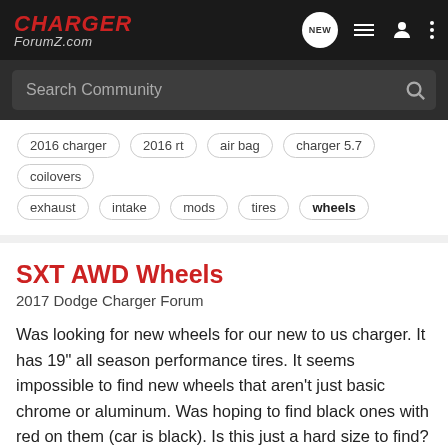CHARGER ForumZ.com
Search Community
2016 charger
2016 rt
air bag
charger 5.7
coilovers
exhaust
intake
mods
tires
wheels
SXT AWD Wheels
2017 Dodge Charger Forum
Was looking for new wheels for our new to us charger. It has 19" all season performance tires. It seems impossible to find new wheels that aren't just basic chrome or aluminum. Was hoping to find black ones with red on them (car is black). Is this just a hard size to find? Is the AWD the issue...
1   602
mrssloppy · Mar 16, 2018
wheels